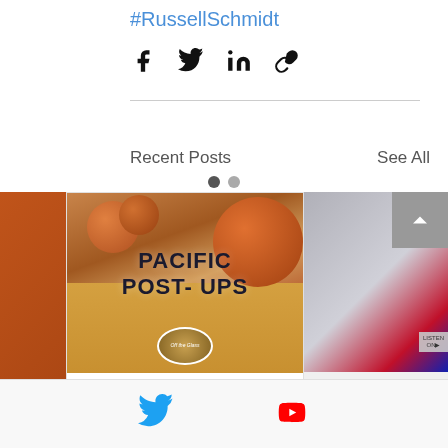#RussellSchmidt
[Figure (infographic): Social share icons: Facebook, Twitter, LinkedIn, link/chain]
Recent Posts
See All
[Figure (photo): Pacific Post-Ups podcast card showing basketballs on a court floor with text 'PACIFIC POST-UPS' and Off the Glass logo]
Episode 70: 2023 Season Previews - LA...
[Figure (infographic): Footer with Twitter bird icon (blue) and YouTube play button icon (red)]